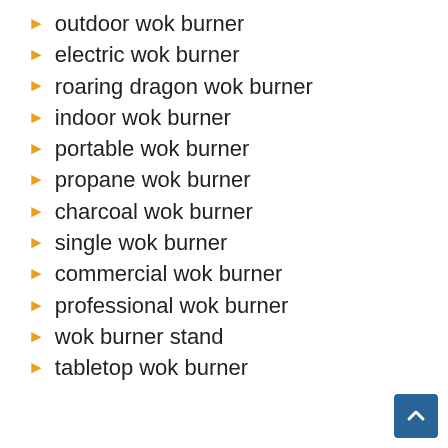outdoor wok burner
electric wok burner
roaring dragon wok burner
indoor wok burner
portable wok burner
propane wok burner
charcoal wok burner
single wok burner
commercial wok burner
professional wok burner
wok burner stand
tabletop wok burner